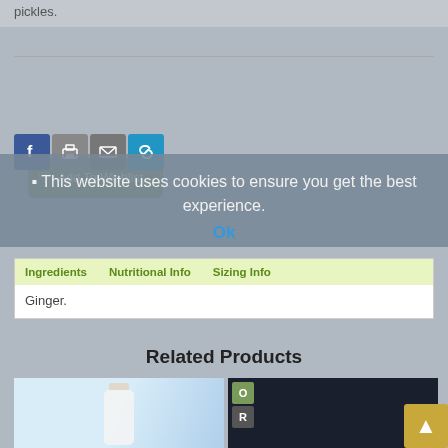pickles.
[Figure (screenshot): Add To Wishlist green button]
[Figure (screenshot): Social sharing icons: Facebook, Print, Email, Link]
This website uses cookies to ensure you get the best experience.
Ok
| Ingredients | Nutritional Info | Sizing Info |
| --- | --- | --- |
| Ginger. |  |  |
Related Products
[Figure (photo): Milk bottle product image]
[Figure (photo): Dark product image with O and R badges]